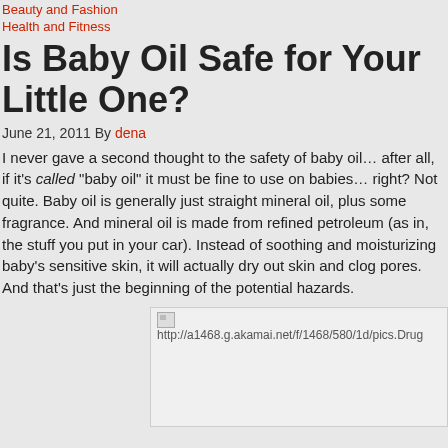Beauty and Fashion
Health and Fitness
Is Baby Oil Safe for Your Little One?
June 21, 2011 By dena
I never gave a second thought to the safety of baby oil… after all, if it's called "baby oil" it must be fine to use on babies… right? Not quite. Baby oil is generally just straight mineral oil, plus some fragrance. And mineral oil is made from refined petroleum (as in, the stuff you put in your car). Instead of soothing and moisturizing baby's sensitive skin, it will actually dry out skin and clog pores. And that's just the beginning of the potential hazards.
[Figure (photo): Broken image placeholder with URL http://a1468.g.akamai.net/f/1468/580/1d/pics.Drug...]